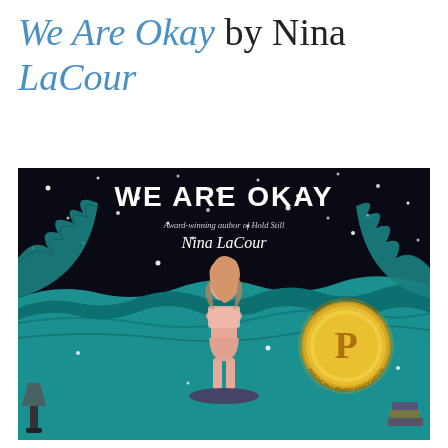We Are Okay by Nina LaCour
[Figure (illustration): Book cover of 'We Are Okay' by Nina LaCour. Dark night sky with stars, teal/blue illustrated ocean waves, a girl with long hair standing with her back to the viewer wearing light pink shorts and top, a gold Printz Award medal on the right side, lamp and books visible in lower corners. Text on cover reads 'WE ARE OKAY', 'Award-winning author of Hold Still', 'Nina LaCour'.]